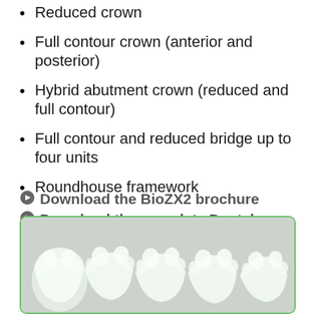Reduced crown
Full contour crown (anterior and posterior)
Hybrid abutment crown (reduced and full contour)
Full contour and reduced bridge up to four units
Roundhouse framework
⦿ Download the BioZX2 brochure
⦿ Download the complete Dental Direkt catalog
[Figure (photo): Close-up photo of translucent white dental zirconia crowns/restorations showing full contour teeth, displayed against a light grey background with a green-bordered rounded rectangle frame.]